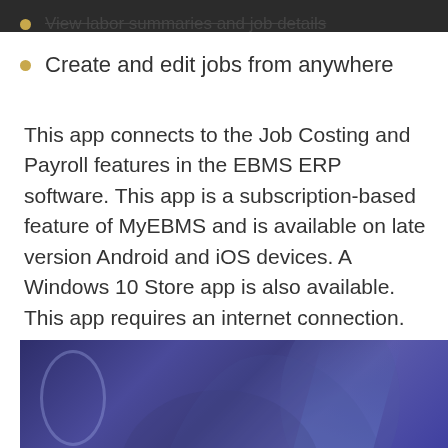View labor summaries and job details
Create and edit jobs from anywhere
This app connects to the Job Costing and Payroll features in the EBMS ERP software. This app is a subscription-based feature of MyEBMS and is available on late version Android and iOS devices. A Windows 10 Store app is also available. This app requires an internet connection.
[Figure (photo): Close-up photo of a person holding a mobile device, with a blue/purple toned background]